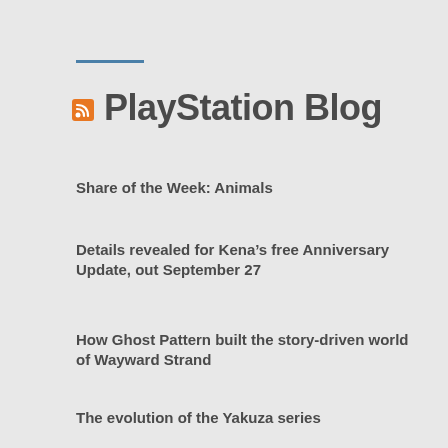PlayStation Blog
Share of the Week: Animals
Details revealed for Kena’s free Anniversary Update, out September 27
How Ghost Pattern built the story-driven world of Wayward Strand
The evolution of the Yakuza series
Get the lowdown on Fallout 76’s Expeditions before entering The Pitt